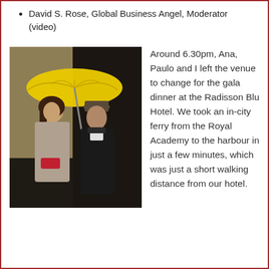David S. Rose, Global Business Angel, Moderator (video)
[Figure (photo): Two people standing outside under a large yellow umbrella. The woman on the left wears a grey coat and holds a red clutch bag. The man on the right wears a dark coat and hat. Background shows a dark wall and a light-coloured panel on the left.]
Around 6.30pm, Ana, Paulo and I left the venue to change for the gala dinner at the Radisson Blu Hotel. We took an in-city ferry from the Royal Academy to the harbour in just a few minutes, which was just a short walking distance from our hotel.